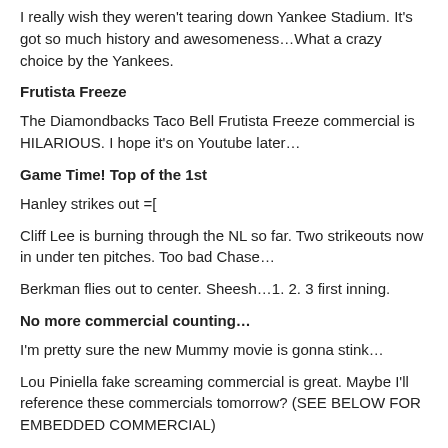I really wish they weren't tearing down Yankee Stadium. It's got so much history and awesomeness…What a crazy choice by the Yankees.
Frutista Freeze
The Diamondbacks Taco Bell Frutista Freeze commercial is HILARIOUS. I hope it's on Youtube later…
Game Time! Top of the 1st
Hanley strikes out =[
Cliff Lee is burning through the NL so far. Two strikeouts now in under ten pitches. Too bad Chase…
Berkman flies out to center. Sheesh…1. 2. 3 first inning.
No more commercial counting…
I'm pretty sure the new Mummy movie is gonna stink…
Lou Piniella fake screaming commercial is great. Maybe I'll reference these commercials tomorrow? (SEE BELOW FOR EMBEDDED COMMERCIAL)